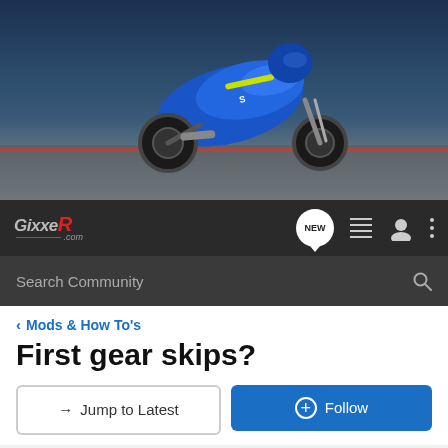[Figure (photo): Hero image of a blue Suzuki GSX-R motorcycle leaning into a turn on a racing track]
GiXXeR.com navigation bar with logo, NEW badge, hamburger menu, user icon, and more options
Search Community
< Mods & How To's
First gear skips?
→ Jump to Latest
+ Follow
1 - 12 of 12 Posts
RyanSteeds · Registered
Joined Dec 3, 2003 · 391 Posts